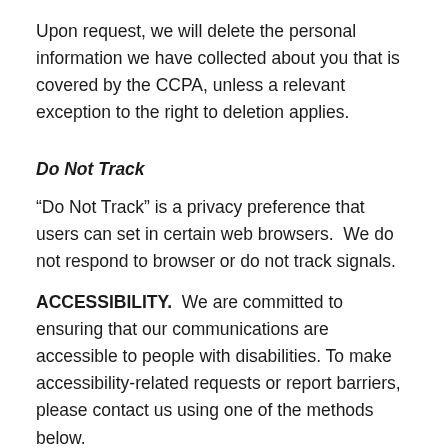Upon request, we will delete the personal information we have collected about you that is covered by the CCPA, unless a relevant exception to the right to deletion applies.
Do Not Track
“Do Not Track” is a privacy preference that users can set in certain web browsers.  We do not respond to browser or do not track signals.
ACCESSIBILITY.  We are committed to ensuring that our communications are accessible to people with disabilities. To make accessibility-related requests or report barriers, please contact us using one of the methods below.
CONTACTING US.